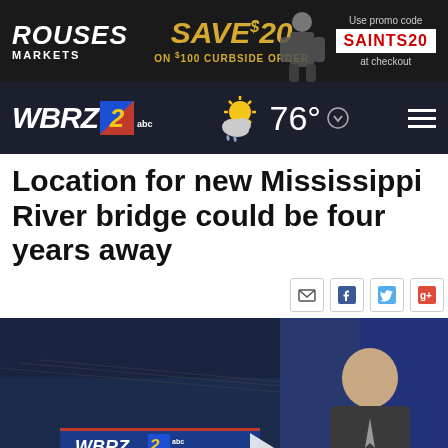[Figure (other): Rouses Markets advertisement banner: 'SAVE $20 ON $100 CURBSIDE ORDER, Use promo code SAINTS20 at checkout']
WBRZ 2 abc — 76° weather — hamburger menu
Location for new Mississippi River bridge could be four years away
[Figure (screenshot): Social media sharing icons: email, Facebook, Twitter, Google+]
[Figure (screenshot): WBRZ 2 News at 10:00 video thumbnail with male news anchor and play button]